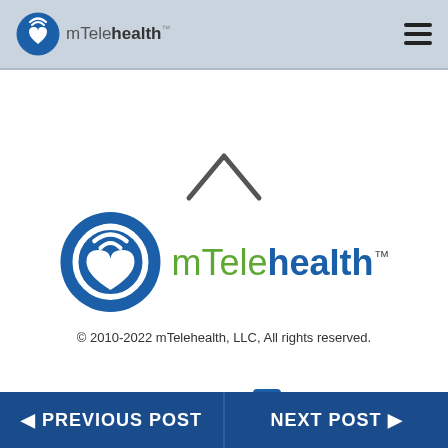[Figure (logo): mTelehealth logo in header bar with blue circular icon and text mTelehealth with TM mark]
[Figure (logo): mTelehealth large centered logo with blue circular heart/M icon and mTelehealth text in green and blue with TM mark]
© 2010-2022 mTelehealth, LLC, All rights reserved.
[Figure (other): Social media icons: Facebook, Twitter, LinkedIn]
PREVIOUS POST   NEXT POST